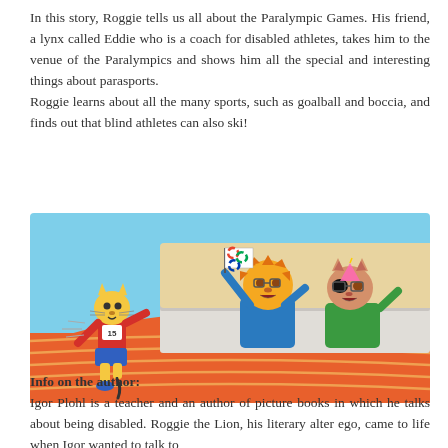In this story, Roggie tells us all about the Paralympic Games. His friend, a lynx called Eddie who is a coach for disabled athletes, takes him to the venue of the Paralympics and shows him all the special and interesting things about parasports. Roggie learns about all the many sports, such as goalball and boccia, and finds out that blind athletes can also ski!
[Figure (illustration): Cartoon illustration of animated cat and lion characters at a Paralympic track event. A small yellow cat wearing a red vest with number 15 and a prosthetic leg runs on an orange athletics track. Two cartoon characters (a lion in blue and a cat in green) cheer from the stands, with one holding a Paralympic flag.]
Info on the author:
Igor Plohl is a teacher and an author of picture books in which he talks about being disabled. Roggie the Lion, his literary alter ego, came to life when Igor wanted to talk to